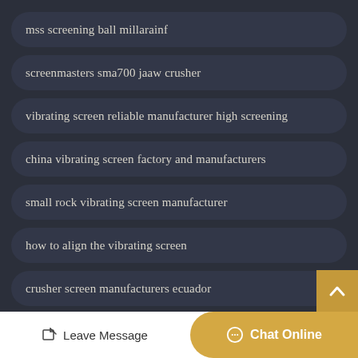mss screening ball millarainf
screenmasters sma700 jaaw crusher
vibrating screen reliable manufacturer high screening
china vibrating screen factory and manufacturers
small rock vibrating screen manufacturer
how to align the vibrating screen
crusher screen manufacturers ecuador
Leave Message  Chat Online